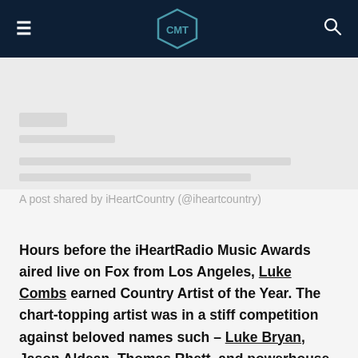CMT
[Figure (screenshot): Social media embed placeholder with grey background showing partial Instagram post from iHeartCountry (@iheartcountry)]
A post shared by iHeartCountry (@iheartcountry)
Hours before the iHeartRadio Music Awards aired live on Fox from Los Angeles, Luke Combs earned Country Artist of the Year. The chart-topping artist was in a stiff competition against beloved names such – Luke Bryan, Jason Aldean, Thomas Rhett, and powerhouse Miranda Lambert. After snagging the grand title, iHeartCountry took to Instagram to share a pre-